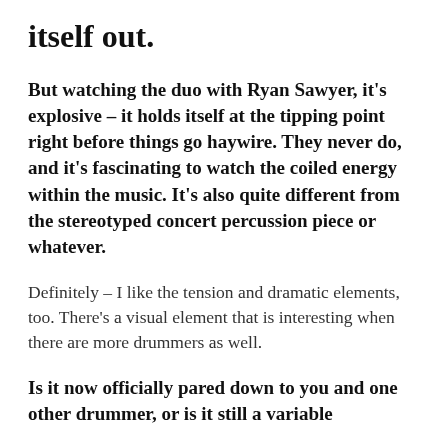itself out.
But watching the duo with Ryan Sawyer, it's explosive – it holds itself at the tipping point right before things go haywire. They never do, and it's fascinating to watch the coiled energy within the music. It's also quite different from the stereotyped concert percussion piece or whatever.
Definitely – I like the tension and dramatic elements, too. There's a visual element that is interesting when there are more drummers as well.
Is it now officially pared down to you and one other drummer, or is it still a variable